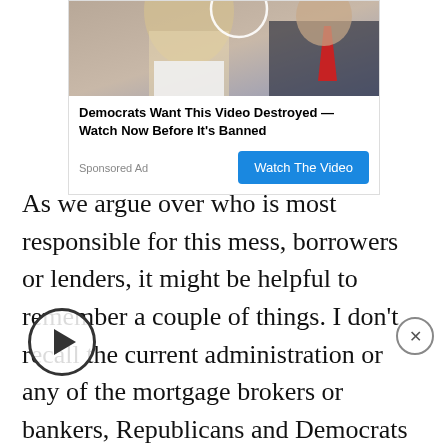[Figure (photo): Advertisement banner with image of two people, one with long blonde hair and one in a suit with red tie. Below is ad text and a blue 'Watch The Video' button.]
As we argue over who is most responsible for this mess, borrowers or lenders, it might be helpful to remember a couple of things. I don't recall the current administration or any of the mortgage brokers or bankers, Republicans and Democrats alike, fervently urging Franklin Raines and Jim Johnson, former CEOs at Fannie Mae, to closely examine each loan application and to exercise the utmost prudence before making a loan. Also, did I